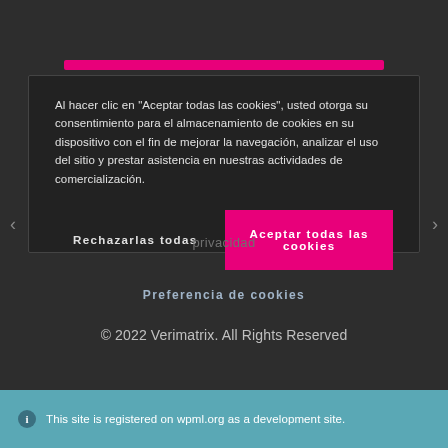[Figure (screenshot): Cookie consent modal dialog with reject and accept buttons, and a cookie preferences link, overlaid on a dark background website]
Al hacer clic en "Aceptar todas las cookies", usted otorga su consentimiento para el almacenamiento de cookies en su dispositivo con el fin de mejorar la navegación, analizar el uso del sitio y prestar asistencia en nuestras actividades de comercialización.
Rechazarlas todas
Aceptar todas las cookies
Preferencia de cookies
privacidad
© 2022 Verimatrix. All Rights Reserved
This site is registered on wpml.org as a development site.